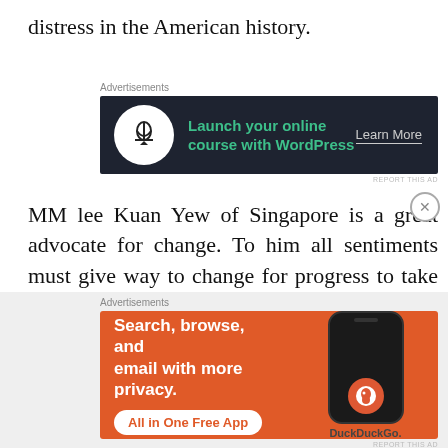distress in the American history.
[Figure (other): Advertisement: Launch your online course with WordPress – Learn More (dark background with icon)]
MM lee Kuan Yew of Singapore is a great advocate for change. To him all sentiments must give way to change for progress to take place. Of late, he has voiced a clear & present danger to the Malaysian Chinese not to be overly obsessed & concentrated just on the economic
[Figure (other): Advertisement: DuckDuckGo – Search, browse, and email with more privacy. All in One Free App (orange background with phone mockup)]